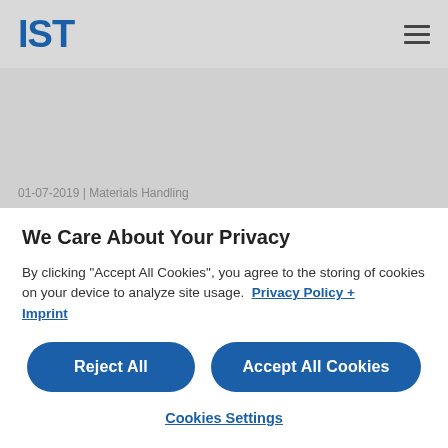IST
01-07-2019 | Materials Handling
We Care About Your Privacy
By clicking "Accept All Cookies", you agree to the storing of cookies on your device to analyze site usage.  Privacy Policy + Imprint
Reject All
Accept All Cookies
Cookies Settings